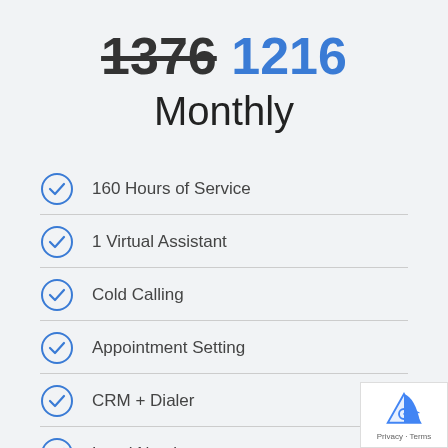1376 1216 Monthly
160 Hours of Service
1 Virtual Assistant
Cold Calling
Appointment Setting
CRM + Dialer
Local Number